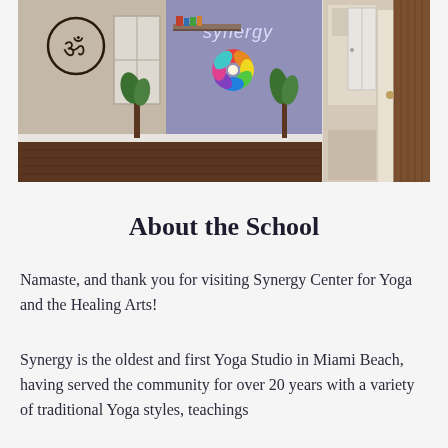[Figure (photo): Interior photo of Synergy yoga studio showing a purple/blue accent wall with the 'synergy' text logo and colorful flower emblem, an Om symbol on the tan wall to the left, a window, bookshelf, dark hardwood floor, and a hallway/kitchen area visible on the right side with wood paneling.]
About the School
Namaste, and thank you for visiting Synergy Center for Yoga and the Healing Arts!
Synergy is the oldest and first Yoga Studio in Miami Beach, having served the community for over 20 years with a variety of traditional Yoga styles, teachings